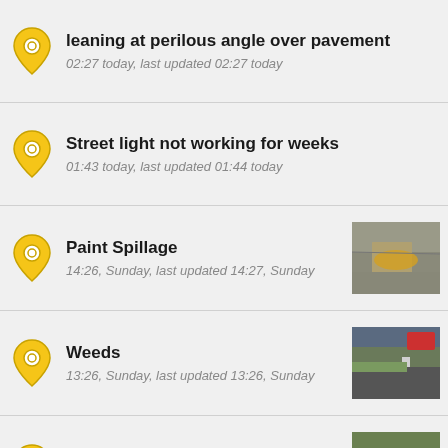leaning at perilous angle over pavement
02:27 today, last updated 02:27 today
Street light not working for weeks
01:43 today, last updated 01:44 today
Paint Spillage
14:26, Sunday, last updated 14:27, Sunday
Weeds
13:26, Sunday, last updated 13:26, Sunday
Flytipped mattress
11:26, Sunday, last updated 11:26, Sunday